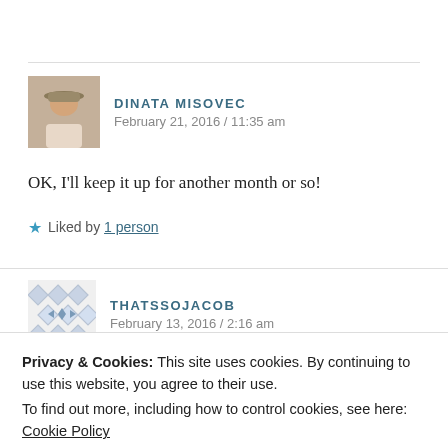DINATA MISOVEC
February 21, 2016 / 11:35 am
OK, I’ll keep it up for another month or so!
★ Liked by 1 person
THATSSOJACOB
February 13, 2016 / 2:16 am
Privacy & Cookies: This site uses cookies. By continuing to use this website, you agree to their use.
To find out more, including how to control cookies, see here: Cookie Policy
Close and accept